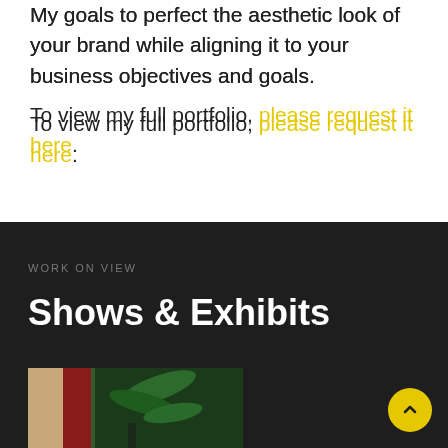My goals to perfect the aesthetic look of your brand while aligning it to your business objectives and goals.
To view my full portfolio, please request it here.
WORK ON VIEW
Shows & Exhibits
[Figure (photo): A partial photo showing what appears to be a plant and artwork/exhibition pieces, cropped at bottom of page.]